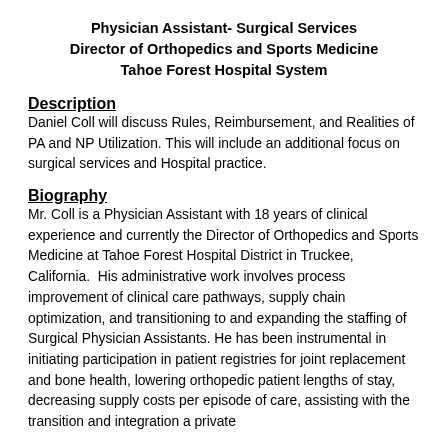Physician Assistant- Surgical Services
Director of Orthopedics and Sports Medicine
Tahoe Forest Hospital System
Description
Daniel Coll will discuss Rules, Reimbursement, and Realities of PA and NP Utilization. This will include an additional focus on surgical services and Hospital practice.
Biography
Mr. Coll is a Physician Assistant with 18 years of clinical experience and currently the Director of Orthopedics and Sports Medicine at Tahoe Forest Hospital District in Truckee, California.  His administrative work involves process improvement of clinical care pathways, supply chain optimization, and transitioning to and expanding the staffing of Surgical Physician Assistants. He has been instrumental in initiating participation in patient registries for joint replacement and bone health, lowering orthopedic patient lengths of stay, decreasing supply costs per episode of care, assisting with the transition and integration a private